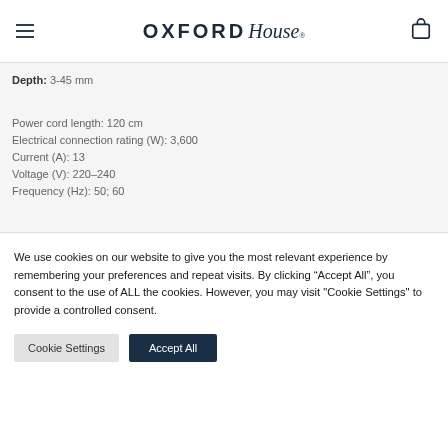Oxford House [logo]
Depth: 3-45 mm
Power cord length: 120 cm
Electrical connection rating (W): 3,600
Current (A): 13
Voltage (V): 220-240
Frequency (Hz): 50; 60
Optional Accessories:
We use cookies on our website to give you the most relevant experience by remembering your preferences and repeat visits. By clicking “Accept All”, you consent to the use of ALL the cookies. However, you may visit "Cookie Settings" to provide a controlled consent.
Cookie Settings | Accept All